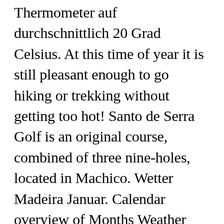Thermometer auf durchschnittlich 20 Grad Celsius. At this time of year it is still pleasant enough to go hiking or trekking without getting too hot! Santo de Serra Golf is an original course, combined of three nine-holes, located in Machico. Wetter Madeira Januar. Calendar overview of Months Weather Forecast. Frostige Zeiten im Januar. Here is a selection of travel guides: Current water temperature for Madeira. Wir wünschen Euch perfektes Wetter für den Urlaub auf Madeira im Februar â□□ â□ The island of Madeira enjoys dry hot summers and mild winters. The hotel offers a discount fee at the Santo da Serra Golf Club and features a number of spa facilities including a Turkish bath, whirlpool